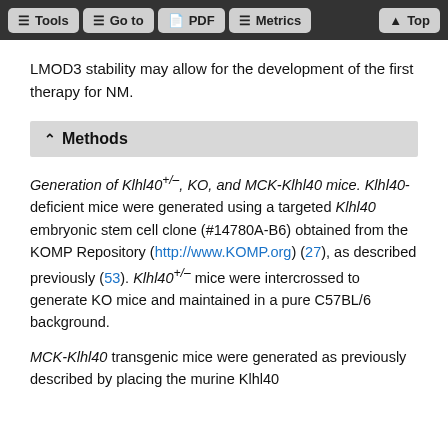Tools | Go to | PDF | Metrics | Top
LMOD3 stability may allow for the development of the first therapy for NM.
Methods
Generation of Klhl40+/–, KO, and MCK-Klhl40 mice. Klhl40-deficient mice were generated using a targeted Klhl40 embryonic stem cell clone (#14780A-B6) obtained from the KOMP Repository (http://www.KOMP.org) (27), as described previously (53). Klhl40+/– mice were intercrossed to generate KO mice and maintained in a pure C57BL/6 background.
MCK-Klhl40 transgenic mice were generated as previously described by placing the murine Klhl40